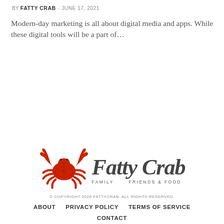BY FATTY CRAB - JUNE 17, 2021
Modern-day marketing is all about digital media and apps. While these digital tools will be a part of...
[Figure (logo): Fatty Crab logo: red crab illustration on left, stylized script text 'Fatty Crab' on right, with tagline 'FAMILY FRIENDS & FOOD' below in spaced caps]
© COPYRIGHT 2020 FATTYCRAB. ALL RIGHTS RESERVED.
ABOUT   PRIVACY POLICY   TERMS OF SERVICE   CONTACT